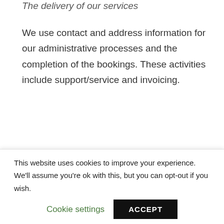The delivery of our services
We use contact and address information for our administrative processes and the completion of the bookings. These activities include support/service and invoicing.
Improvement of our services
Expedition Everywhere collects your surf
This website uses cookies to improve your experience. We'll assume you're ok with this, but you can opt-out if you wish.
Cookie settings
ACCEPT